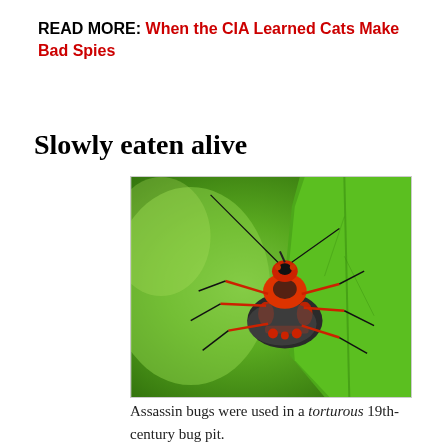READ MORE: When the CIA Learned Cats Make Bad Spies
Slowly eaten alive
[Figure (photo): Close-up macro photograph of a red and black assassin bug (Reduviidae) perched on a green leaf. The insect has distinctly colored red and black body markings, long antennae, and multiple visible legs gripping the leaf surface. The background is blurred green foliage.]
Assassin bugs were used in a torturous 19th-century bug pit.